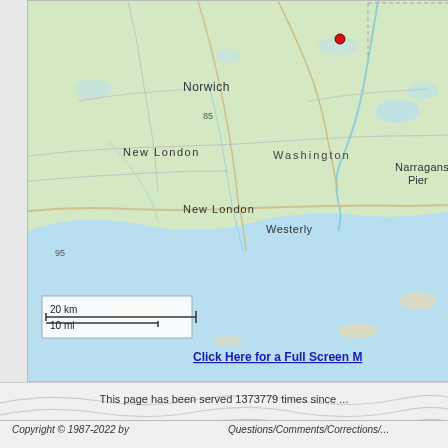[Figure (map): Geographic map showing coastal Connecticut and Rhode Island area including Norwich, New London, Washington, Westerly, and Narragansett Pier. A red dot marker is placed near the Washington/Westerly area. A scale bar shows 20 km / 10 mi. The map shows land in green, water in light blue, roads, and topographic features.]
Click Here for a Full Screen M...
This page has been served 1373779 times since ...
Copyright © 1987-2022 by
Questions/Comments/Corrections/...